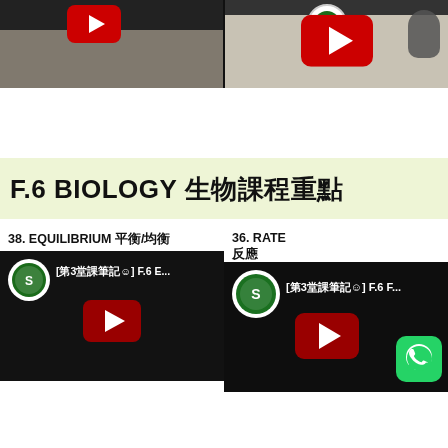[Figure (screenshot): Two YouTube video thumbnails at top of page showing hands and YouTube play buttons]
F.6 BIOLOGY 生物課程重點
38. EQUILIBRIUM 平衡/均衡
36. RATE 反應
[Figure (screenshot): YouTube video thumbnail: [第3堂課筆記☺] F.6 E... with school logo]
[Figure (screenshot): YouTube video thumbnail: [第3堂課筆記☺] F.6 F... with school logo and WhatsApp button]